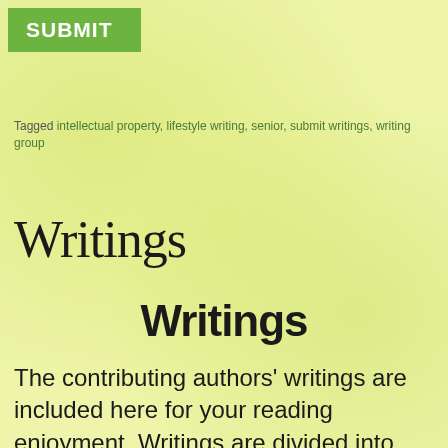SUBMIT
Tagged intellectual property, lifestyle writing, senior, submit writings, writing group
Writings
Writings
The contributing authors' writings are included here for your reading enjoyment. Writings are divided into three